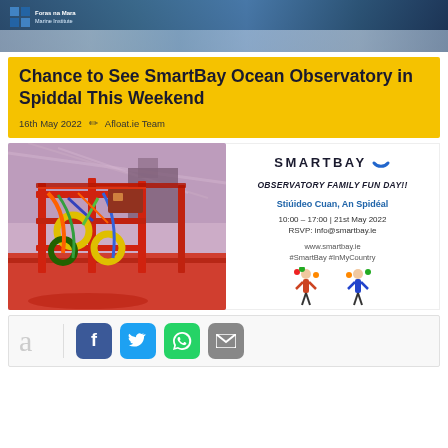[Figure (photo): Top banner with ocean/marine imagery and Foras na Mara Marine Institute logo]
Chance to See SmartBay Ocean Observatory in Spiddal This Weekend
16th May 2022   Afloat.ie Team
[Figure (photo): Colorful photo of SmartBay ocean observatory equipment with artistic rendering in red and blue tones]
[Figure (infographic): SmartBay Observatory Family Fun Day event card with logo, details: Stiúideo Cuan, An Spidéal, 10:00-17:00 | 21st May 2022, RSVP: info@smartbay.ie, www.smartbay.ie, #SmartBay #InMyCountry, with juggling figure illustration]
[Figure (infographic): Social sharing bar with Facebook, Twitter, WhatsApp, and email buttons]